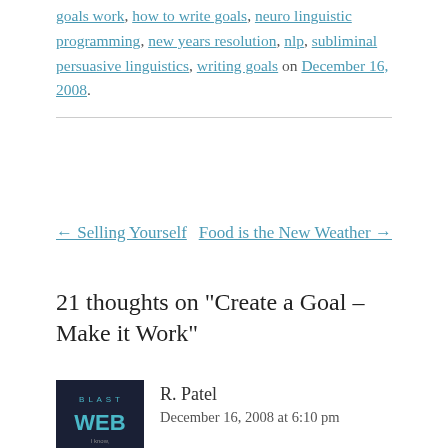goals work, how to write goals, neuro linguistic programming, new years resolution, nlp, subliminal persuasive linguistics, writing goals on December 16, 2008.
← Selling Yourself    Food is the New Weather →
21 thoughts on “Create a Goal – Make it Work”
R. Patel
December 16, 2008 at 6:10 pm
Goals are important as long as people stick to them and don't forget about them.